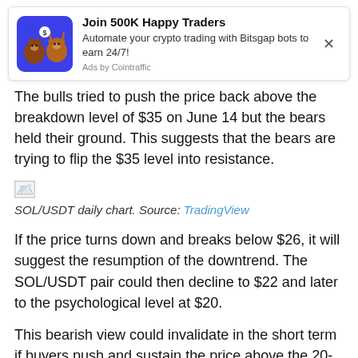[Figure (other): Advertisement banner: Join 500K Happy Traders - Automate your crypto trading with Bitsgap bots to earn 24/7! Ads by Cointraffic]
The bulls tried to push the price back above the breakdown level of $35 on June 14 but the bears held their ground. This suggests that the bears are trying to flip the $35 level into resistance.
SOL/USDT daily chart. Source: TradingView
If the price turns down and breaks below $26, it will suggest the resumption of the downtrend. The SOL/USDT pair could then decline to $22 and later to the psychological level at $20.
This bearish view could invalidate in the short term if buyers push and sustain the price above the 20-day